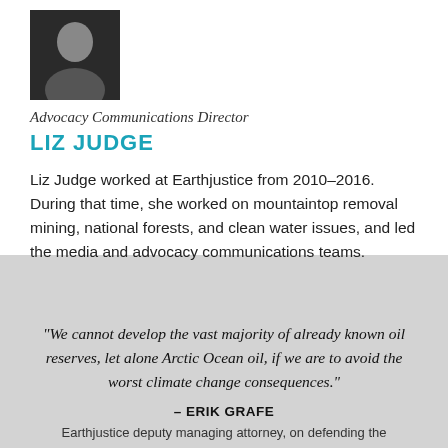[Figure (photo): Headshot photo of Liz Judge]
Advocacy Communications Director
LIZ JUDGE
Liz Judge worked at Earthjustice from 2010–2016. During that time, she worked on mountaintop removal mining, national forests, and clean water issues, and led the media and advocacy communications teams.
“We cannot develop the vast majority of already known oil reserves, let alone Arctic Ocean oil, if we are to avoid the worst climate change consequences.”
– ERIK GRAFE
Earthjustice deputy managing attorney, on defending the